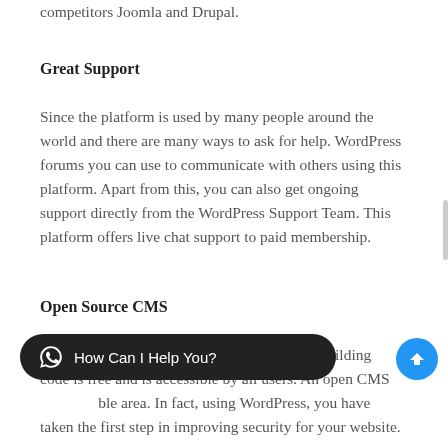competitors Joomla and Drupal.
Great Support
Since the platform is used by many people around the world and there are many ways to ask for help. WordPress forums you can use to communicate with others using this platform. Apart from this, you can also get ongoing support directly from the WordPress Support Team. This platform offers live chat support to paid membership.
Open Source CMS
Open Source means only that the WordPress building code is free and is accessible by all users. An open CMS ble area. In fact, using WordPress, you have taken the first step in improving security for your website.